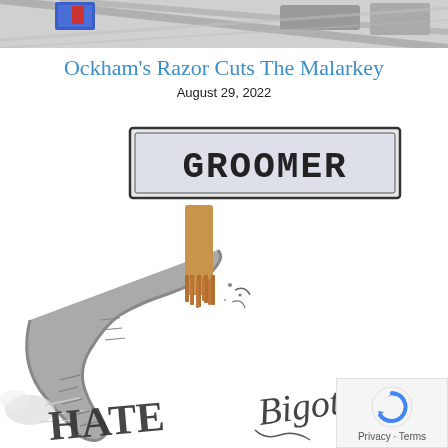[Figure (illustration): Top cropped portion of a cartoon illustration showing partial colored images at the very top of the page]
Ockham’s Razor Cuts The Malarkey
August 29, 2022
[Figure (illustration): Political cartoon showing an elephant trunk holding a large wooden comb next to a sign reading GROOMER, with colorful words HATE and Bigotry visible in the lower portion of the image]